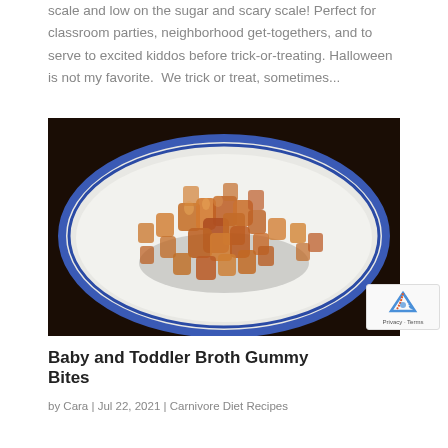scale and low on the sugar and scary scale! Perfect for classroom parties, neighborhood get-togethers, and to serve to excited kiddos before trick-or-treating. Halloween is not my favorite.  We trick or treat, sometimes...
[Figure (photo): Amber/golden gummy bear candies piled on a white plate with a blue rim, on a dark background. The gummies appear translucent and glossy.]
Baby and Toddler Broth Gummy Bites
by Cara | Jul 22, 2021 | Carnivore Diet Recipes